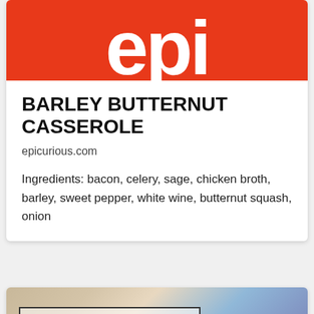[Figure (logo): Epicurious logo — white letters 'epi' on orange-red background]
BARLEY BUTTERNUT CASSEROLE
epicurious.com
Ingredients: bacon, celery, sage, chicken broth, barley, sweet pepper, white wine, butternut squash, onion
[Figure (photo): Food photo background with text overlay reading 'Bacon, Apple, & Cornbread Gluten-Free Stuffing']